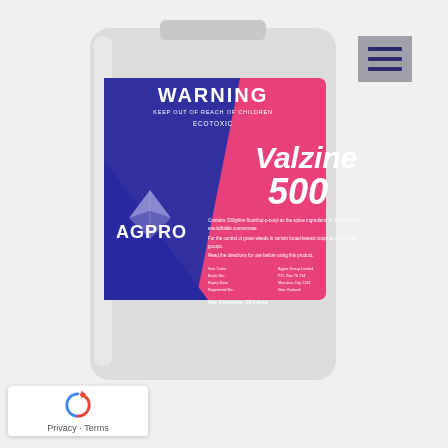[Figure (photo): A large white plastic container (20 litre jerry can) with a pink and blue label reading 'WARNING / KEEP OUT OF REACH OF CHILDREN / ECOTOXIC / Valzine 500' by AGPRO brand. The label is hot pink with a blue diagonal section on the left showing a bird logo and the AGPRO brand name. The container is shown against a light grey background.]
Privacy · Terms